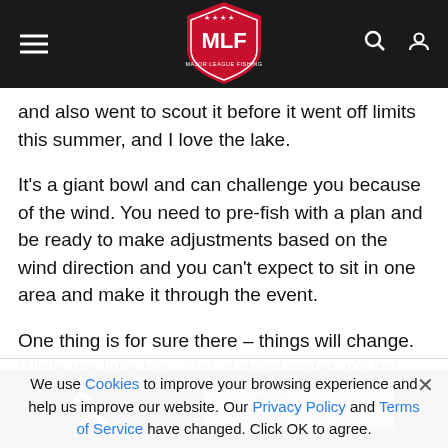MLF Major League Fishing navigation header
and also went to scout it before it went off limits this summer, and I love the lake.
It's a giant bowl and can challenge you because of the wind. You need to pre-fish with a plan and be ready to make adjustments based on the wind direction and you can't expect to sit in one area and make it through the event.
One thing is for sure there – things will change. While the lake has a lot of dead water, it's got one of the best average sizes
We use Cookies to improve your browsing experience and help us improve our website. Our Privacy Policy and Terms of Service have changed. Click OK to agree.
[Figure (logo): Daiwa Tatula advertisement banner — black background with white Daiwa chevron logo on left and Tatula fishing reel brand badge on right]